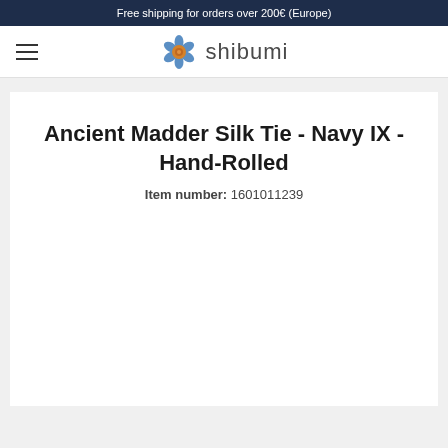Free shipping for orders over 200€ (Europe)
[Figure (logo): Shibumi logo: blue flower icon next to the text 'shibumi']
Ancient Madder Silk Tie - Navy IX - Hand-Rolled
Item number: 1601011239